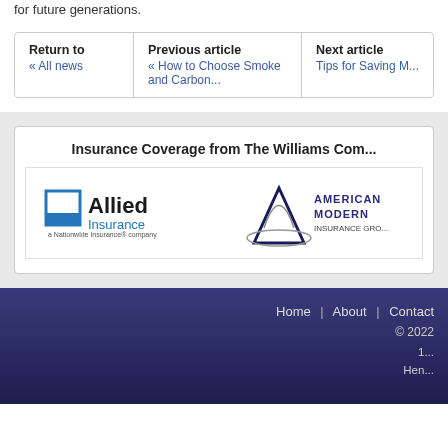for future generations.
Return to « All news
Previous article « How to Choose Smoke and Carbon...
Next article Tips for Saving M...
Insurance Coverage from The Williams Com...
[Figure (logo): Allied Insurance - a Nationwide Insurance company logo]
[Figure (logo): American Modern Insurance Group logo]
Home | About | Contact
© 2022
Hen...